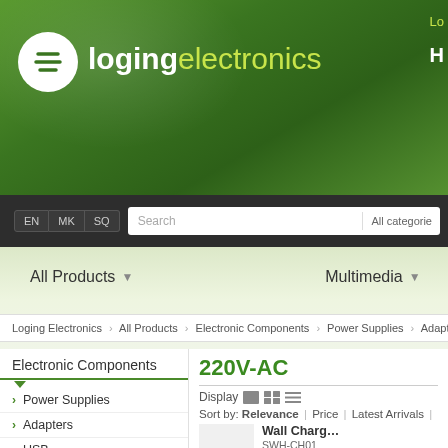[Figure (logo): Loging Electronics logo with white circle icon and green/white text on green gradient header]
Lo
H
EN MK SQ | Search | All categories
All Products ▾  Multimedia ▾
Loging Electronics › All Products › Electronic Components › Power Supplies › Adapte...
Electronic Components
Power Supplies
Adapters
USB
220V-AC
220V-AC
Display
Sort by: Relevance | Price | Latest Arrivals | Ra...
Wall Charg...
SWH-CH01
Quick in...
[Figure (other): Star rating icons (3 stars shown)]